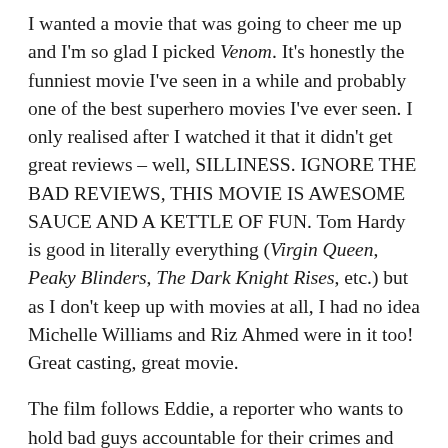I wanted a movie that was going to cheer me up and I'm so glad I picked Venom. It's honestly the funniest movie I've seen in a while and probably one of the best superhero movies I've ever seen. I only realised after I watched it that it didn't get great reviews – well, SILLINESS. IGNORE THE BAD REVIEWS, THIS MOVIE IS AWESOME SAUCE AND A KETTLE OF FUN. Tom Hardy is good in literally everything (Virgin Queen, Peaky Blinders, The Dark Knight Rises, etc.) but as I don't keep up with movies at all, I had no idea Michelle Williams and Riz Ahmed were in it too! Great casting, great movie.
The film follows Eddie, a reporter who wants to hold bad guys accountable for their crimes and doesn't hold back on his opinions of their awfulness. Unfortunately, being a good reporter and a good person doesn't sit well with his bootlicker boss, and Eddie gets fired when he goes after a